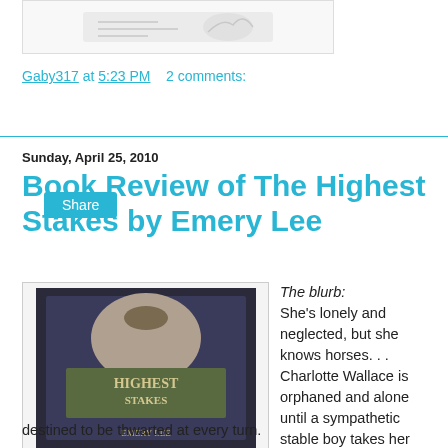[Figure (illustration): Partial book cover or decorative image at top of page, showing a sketch/illustration, partially cropped]
Gaby317 at 5:23 PM   2 comments:
Share
Sunday, April 25, 2010
Book Review of The Highest Stakes by Emery Lee
[Figure (photo): Book cover of 'The Highest Stakes' by Emery Lee, showing a portrait of a woman in period dress and a horse racing scene]
The blurb:
She's lonely and neglected, but she knows horses. . . Charlotte Wallace is orphaned and alone until a sympathetic stable boy takes her under his wing and teaches her everything about thoroughbred racing. In the process, the two discover in each other a love destined to be thwarted at every turn.